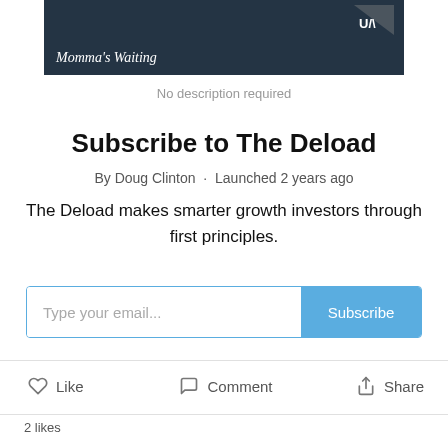[Figure (photo): Screenshot of a video thumbnail showing a person in a suit with text 'Momma's Waiting' and a logo in the top right corner]
No description required
Subscribe to The Deload
By Doug Clinton · Launched 2 years ago
The Deload makes smarter growth investors through first principles.
[Figure (screenshot): Email subscription input field with 'Type your email...' placeholder and a blue 'Subscribe' button]
Like   Comment   Share
2 likes